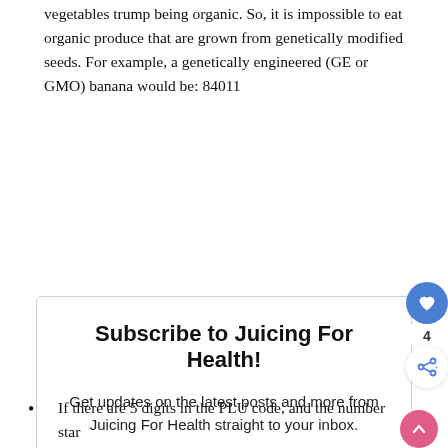vegetables trump being organic. So, it is impossible to eat organic produce that are grown from genetically modified seeds. For example, a genetically engineered (GE or GMO) banana would be: 84011
Subscribe to Juicing For Health!
Get updates on the latest posts and more from Juicing For Health straight to your inbox.
[Figure (infographic): Email subscription form with input field placeholder 'Your Email...', a blue SUBSCRIBE button, and a consent checkbox with label 'I consent to receiving emails and personalized ads.']
If there are 5 digits in the PLU code, and the number star...